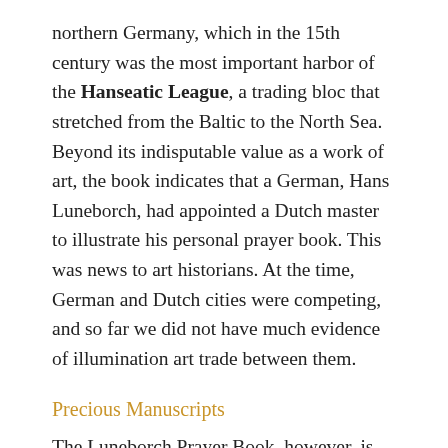northern Germany, which in the 15th century was the most important harbor of the Hanseatic League, a trading bloc that stretched from the Baltic to the North Sea. Beyond its indisputable value as a work of art, the book indicates that a German, Hans Luneborch, had appointed a Dutch master to illustrate his personal prayer book. This was news to art historians. At the time, German and Dutch cities were competing, and so far we did not have much evidence of illumination art trade between them.
Precious Manuscripts
The Luneborch Prayer Book, however, is far from the only stunning example of Medieval